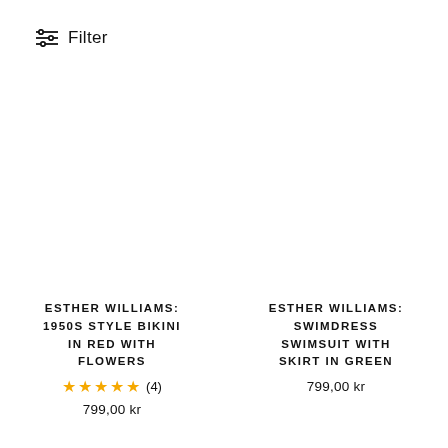Filter
ESTHER WILLIAMS: 1950S STYLE BIKINI IN RED WITH FLOWERS
★★★★★ (4)
799,00 kr
ESTHER WILLIAMS: SWIMDRESS SWIMSUIT WITH SKIRT IN GREEN
799,00 kr